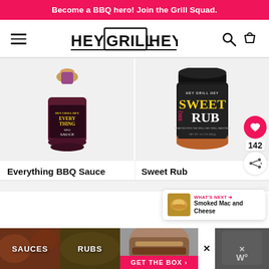Become a BBQ hero! Join the Grill Squad.
[Figure (logo): HEY GRILL HEY logo in block letters with border, flanked by hamburger menu icon, search icon, and cart icon in navigation bar]
[Figure (photo): Hey Grill Hey Everything BBQ Sauce bottle with purple and yellow label on light gray background]
[Figure (photo): Hey Grill Hey Sweet Rub BBQ seasoning jar with black and yellow label on light gray background]
Everything BBQ Sauce
Sweet Rub
[Figure (infographic): What's Next widget showing smoked mac and cheese thumbnail with pink arrow and label]
[Figure (screenshot): Bottom advertisement banner with SAUCES and RUBS labels, GET THE BOX call to action, close button, and additional product imagery]